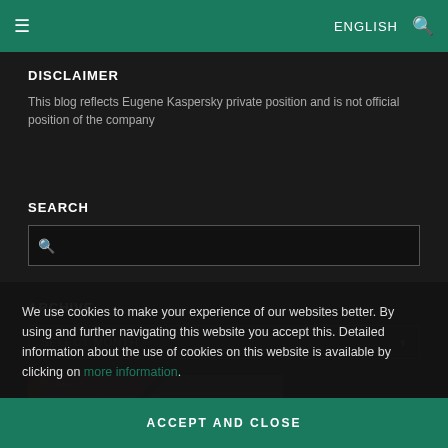≡   ENGLISH  🔍
DISCLAIMER
This blog reflects Eugene Kaspersky private position and is not official position of the company
SEARCH
ARCHIVE
SELECT MONTH
We use cookies to make your experience of our websites better. By using and further navigating this website you accept this. Detailed information about the use of cookies on this website is available by clicking on more information.
ACCEPT AND CLOSE